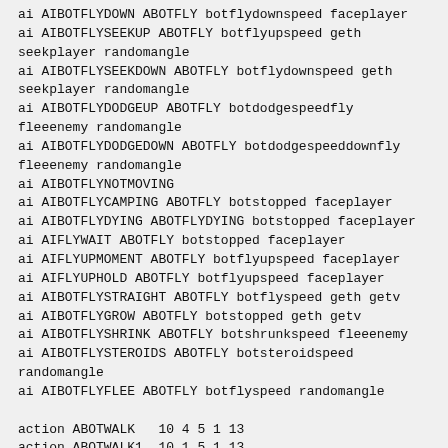ai AIBOTFLYDOWN ABOTFLY botflydownspeed faceplayer
ai AIBOTFLYSEEKUP ABOTFLY botflyupspeed geth seekplayer randomangle
ai AIBOTFLYSEEKDOWN ABOTFLY botflydownspeed geth seekplayer randomangle
ai AIBOTFLYDODGEUP ABOTFLY botdodgespeedfly fleeenemy randomangle
ai AIBOTFLYDODGEDOWN ABOTFLY botdodgespeeddownfly fleeenemy randomangle
ai AIBOTFLYNOTMOVING
ai AIBOTFLYCAMPING ABOTFLY botstopped faceplayer
ai AIBOTFLYDYING ABOTFLYDYING botstopped faceplayer
ai AIFLYWAIT ABOTFLY botstopped faceplayer
ai AIFLYUPMOMENT ABOTFLY botflyupspeed faceplayer
ai AIFLYUPHOLD ABOTFLY botflyupspeed faceplayer
ai AIBOTFLYSTRAIGHT ABOTFLY botflyspeed geth getv
ai AIBOTFLYGROW ABOTFLY botstopped geth getv
ai AIBOTFLYSHRINK ABOTFLY botshrunkspeed fleeenemy
ai AIBOTFLYSTEROIDS ABOTFLY botsteroidspeed randomangle
ai AIBOTFLYFLEE ABOTFLY botflyspeed randomangle

action ABOTWALK   10 4 5 1 13
action ABOTWALK1  10 1 5 1 13
action ABOTWALKGO 10 4 5 1 13
action ABOTKICK   10 2 5 1 25
action ABOTCRAWL  55 3 5 1 13